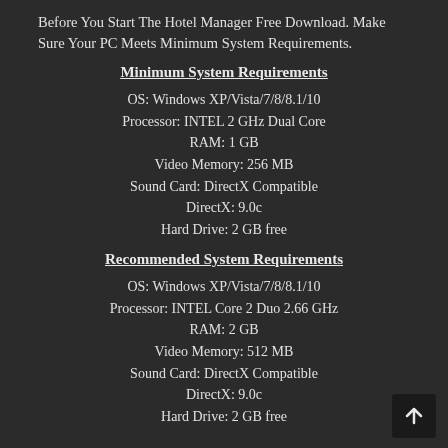Before You Start The Hotel Manager Free Download. Make Sure Your PC Meets Minimum System Requirements.
Minimum System Requirements
OS: Windows XP/Vista/7/8/8.1/10
Processor: INTEL 2 GHz Dual Core
RAM: 1 GB
Video Memory: 256 MB
Sound Card: DirectX Compatible
DirectX: 9.0c
Hard Drive: 2 GB free
Recommended System Requirements
OS: Windows XP/Vista/7/8/8.1/10
Processor: INTEL Core 2 Duo 2.66 GHz
RAM: 2 GB
Video Memory: 512 MB
Sound Card: DirectX Compatible
DirectX: 9.0c
Hard Drive: 2 GB free